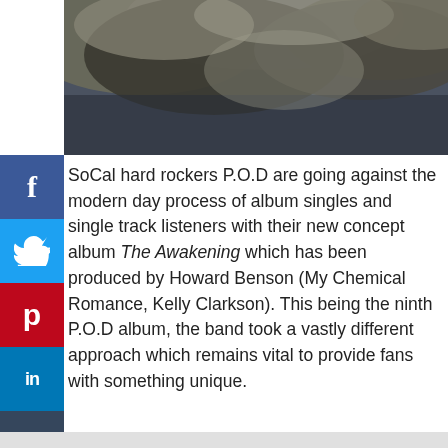[Figure (photo): Dark stormy clouds sky photograph, dramatic overcast sky]
SoCal hard rockers P.O.D are going against the modern day process of album singles and single track listeners with their new concept album The Awakening which has been produced by Howard Benson (My Chemical Romance, Kelly Clarkson). This being the ninth P.O.D album, the band took a vastly different approach which remains vital to provide fans with something unique.
[Figure (screenshot): NFL Shop advertisement banner. NFL Shop - Free shipping on orders over $25 - www.nflshop.com - SHOP NOW button. Red NFL product image on left.]